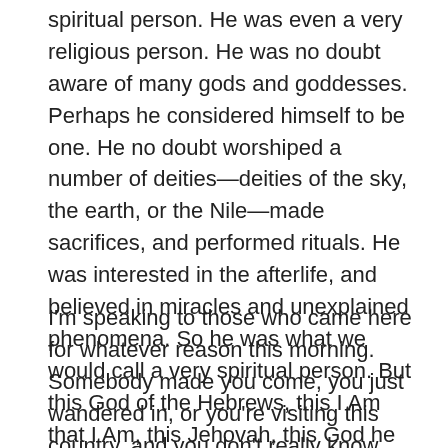spiritual person. He was even a very religious person. He was no doubt aware of many gods and goddesses. Perhaps he considered himself to be one. He no doubt worshiped a number of deities—deities of the sky, the earth, or the Nile—made sacrifices, and performed rituals. He was interested in the afterlife, and believed in miracles and unexplained phenomena. So he was what we would call a very spiritual person. But this God of the Hebrews, this I Am that I Am, this Jehovah, this God he did not know.
I'm speaking to those who came here for whatever reason this morning. Somebody made you come, you just wandered in, or you're visiting this country, and you don't really know God. You wouldn't call